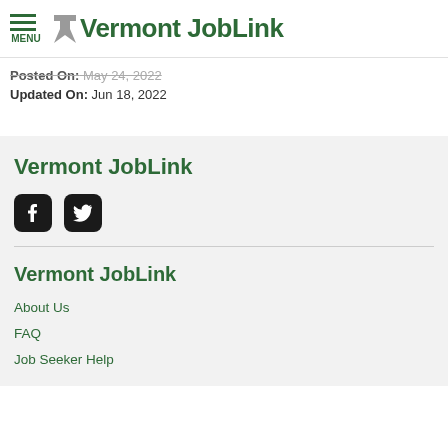Vermont JobLink
Posted On: May 24, 2022
Updated On: Jun 18, 2022
Vermont JobLink
[Figure (logo): Facebook and Twitter social media icons]
Vermont JobLink
About Us
FAQ
Job Seeker Help